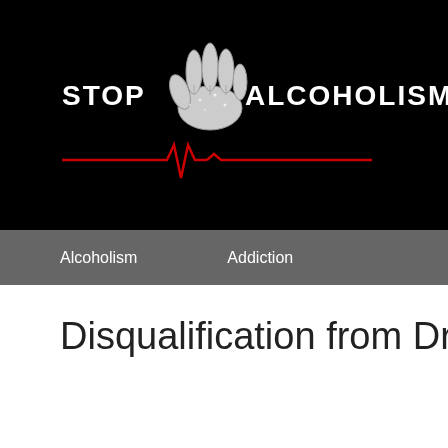[Figure (logo): Stop Alcoholism website header logo with white hand print graphic, 'STOP' text on left, 'ALCOHOLISM' text on right, and red heartbeat/EKG line underneath, all on black background]
Alcoholism    Addiction
Disqualification from Driving b